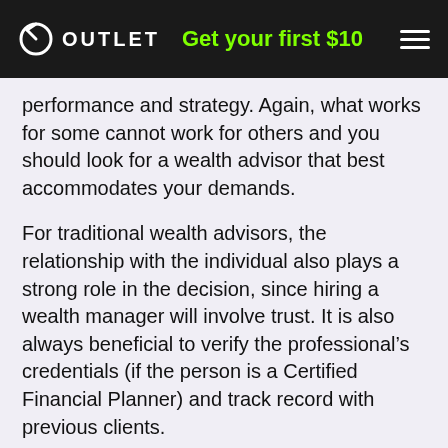OUTLET  Get your first $10
performance and strategy. Again, what works for some cannot work for others and you should look for a wealth advisor that best accommodates your demands.
For traditional wealth advisors, the relationship with the individual also plays a strong role in the decision, since hiring a wealth manager will involve trust. It is also always beneficial to verify the professional's credentials (if the person is a Certified Financial Planner) and track record with previous clients.
Best Wealth Management Companies in